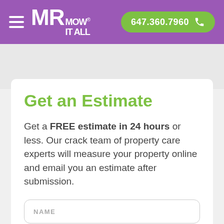MR MOW IT ALL — 647.360.7960
Get an Estimate
Get a FREE estimate in 24 hours or less. Our crack team of property care experts will measure your property online and email you an estimate after submission.
NAME